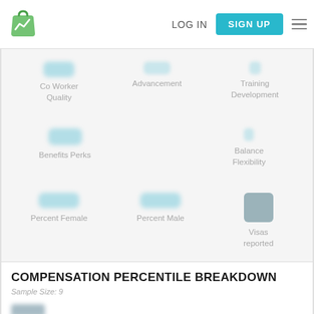LOG IN | SIGN UP
Co Worker Quality
Advancement
Training Development
Benefits Perks
Balance Flexibility
Percent Female
Percent Male
Visas reported
COMPENSATION PERCENTILE BREAKDOWN
Sample Size: 9